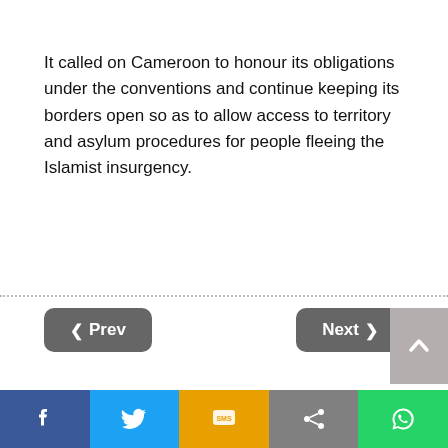It called on Cameroon to honour its obligations under the conventions and continue keeping its borders open so as to allow access to territory and asylum procedures for people fleeing the Islamist insurgency.
[Figure (screenshot): Navigation buttons: '< Prev' on left and 'Next >' on right, dark grey rounded rectangle buttons. A scroll-to-top arrow button on far right edge. A dotted separator line above them.]
[Figure (screenshot): Advertisement box with close X button and faint logo mark.]
[Figure (screenshot): Social sharing bar at bottom with Facebook, Twitter, SMS, Share, and WhatsApp buttons in respective brand colors.]